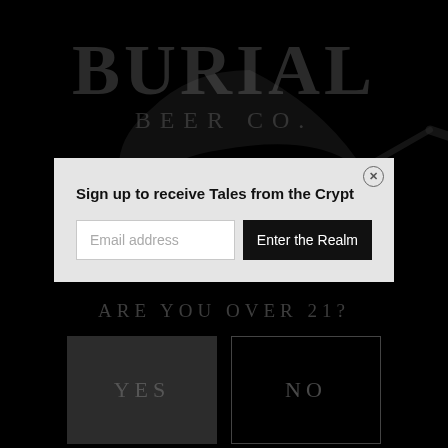[Figure (logo): Burial Beer Co. logo — large gothic serif BURIAL text above smaller spaced BEER CO. text with a scythe illustration, all in dark gray on black background]
Sign up to receive Tales from the Crypt
Email address
Enter the Realm
ARE YOU OVER 21?
YES
NO